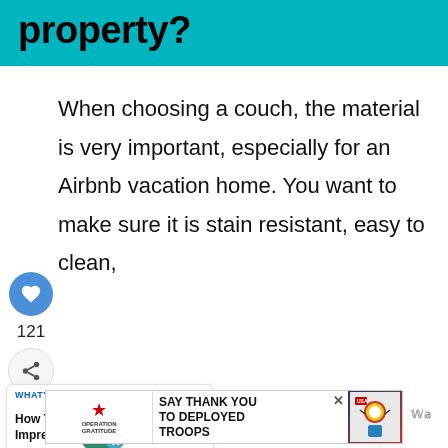property?
When choosing a couch, the material is very important, especially for an Airbnb vacation home. You want to make sure it is stain resistant, easy to clean,
[Figure (infographic): Social share sidebar with heart/like button showing 121 likes and a share button]
[Figure (infographic): WHAT'S NEXT panel with thumbnail linking to 'How To Impress...']
[Figure (infographic): Advertisement banner: Operation Gratitude - SAY THANK YOU TO DEPLOYED TROOPS]